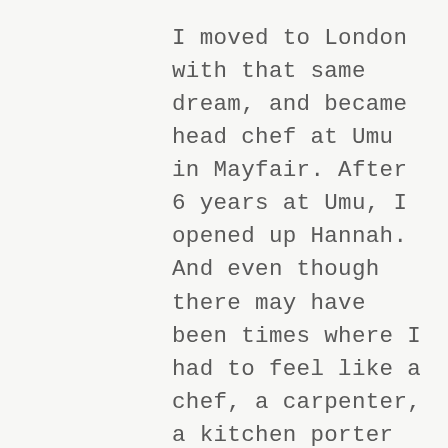I moved to London with that same dream, and became head chef at Umu in Mayfair. After 6 years at Umu, I opened up Hannah. And even though there may have been times where I had to feel like a chef, a carpenter, a kitchen porter and a waiter at the same time, I have built the restaurant I had dreamed about as a 15 year old boy.

I have created an seasonal  omakase tasting menu at Hannah, integrating